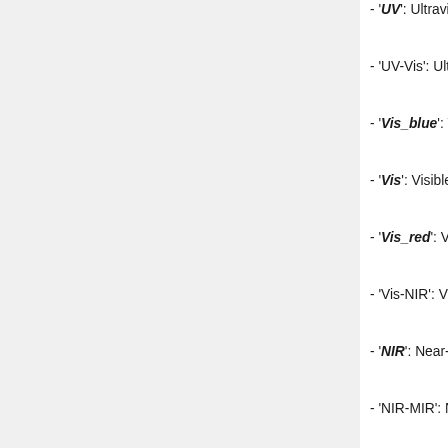- 'UV': Ultraviolet (200-400 nm)
- 'UV-Vis': Ultraviolet-Visible (200-800 nm)
- 'Vis_blue': Visible Blue (400-600 nm)
- 'Vis': Visible (400-1000 nm)
- 'Vis_red': Visible-Red (600-800 nm)
- 'Vis-NIR': Visible Near-IR (400-5000nm)
- 'NIR': Near-InfraRed (1-5 μm)
- 'NIR-MIR': Near+Mid-IR (1-25 μm)
- 'MIR': Mid-InfraRed (2.5-25 μm)
- 'FIR': Far-InfraRed (15-500 μm)
- 'sub-mm': Sub-millimeter (300-1000 μm)
- 'mm': millimeter (1-10